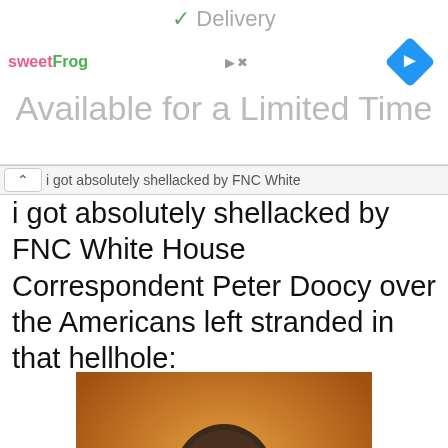[Figure (screenshot): Advertisement banner for sweetFrog with 'Available for a Limited Time' text and navigation diamond icon, with Delivery checkmark at top]
i got absolutely shellacked by FNC White House Correspondent Peter Doocy over the Americans left stranded in that hellhole:
[Figure (photo): Photo of Ben Carson in a dark suit with a headset microphone against an orange background]
Ben Carsons 'Miracle Drug' Is Taking America By Storm